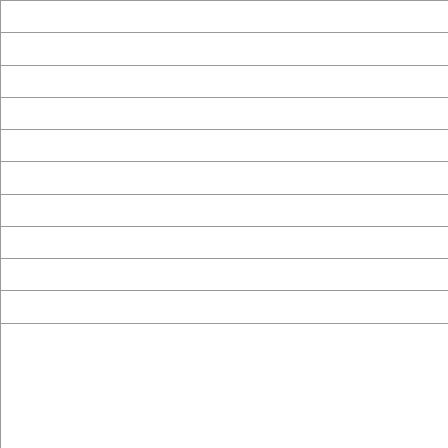|  | Kinkster_couple |
|  | kinkylace |
|  | Dayley |
|  | littleblue007 |
|  | swinglow92 |
|  | wearealwaysnaked |
|  | dirty-couple 123 |
|  | EmbellishCouple |
|  | jandc99 |
|  | LilyJay25 |
|  | Since that event I've attended an quiet which completely exposed  club. It was less busy night and t and the staff had more time and  guests and have a good quality c |
|  | That would be all for now. |
|  | Many thanks to all for the amazin club. |
|  | Tom xxx |
|  | Date: 6 August 2022 |
| Rating: Fun |  |
|  | First time attending and this plac tell the time, effort and detail tha |